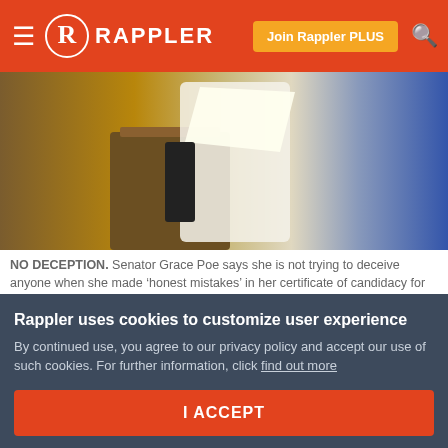RAPPLER | Join Rappler PLUS
[Figure (photo): A person in a white long-sleeve shirt standing at a wooden podium or desk, holding papers, with a blurred background of dark blue and brown tones.]
NO DECEPTION. Senator Grace Poe says she is not trying to deceive anyone when she made ‘honest mistakes’ in her certificate of candidacy for senator in 2013. File photo by Alecs Ongcal/Rappler
MANILA, Philippines – There are about a hundred other aspirants for president who could be declared election nuisances, but why did a Commission on Election
Rappler uses cookies to customize user experience
By continued use, you agree to our privacy policy and accept our use of such cookies. For further information, click find out more
I ACCEPT